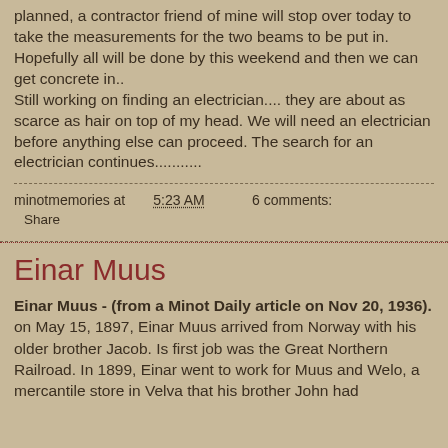planned, a contractor friend of mine will stop over today to take the measurements for the two beams to be put in. Hopefully all will be done by this weekend and then we can get concrete in.. Still working on finding an electrician.... they are about as scarce as hair on top of my head. We will need an electrician before anything else can proceed. The search for an electrician continues...........
minotmemories at 5:23 AM    6 comments:
Share
Einar Muus
Einar Muus - (from a Minot Daily article on Nov 20, 1936). on May 15, 1897, Einar Muus arrived from Norway with his older brother Jacob. Is first job was the Great Northern Railroad. In 1899, Einar went to work for Muus and Welo, a mercantile store in Velva that his brother John had